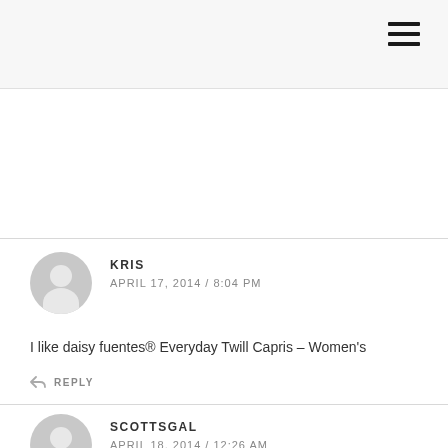KRIS
APRIL 17, 2014 / 8:04 PM
I like daisy fuentes® Everyday Twill Capris – Women's
REPLY
SCOTTSGAL
APRIL 18, 2014 / 12:26 AM